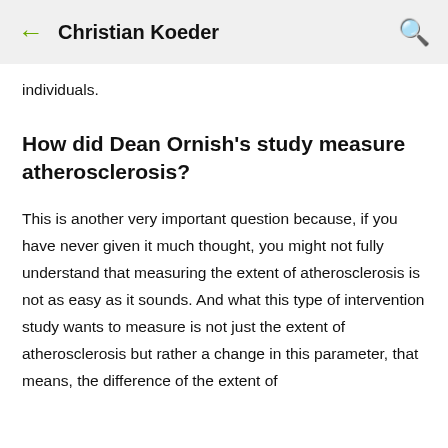Christian Koeder
individuals.
How did Dean Ornish's study measure atherosclerosis?
This is another very important question because, if you have never given it much thought, you might not fully understand that measuring the extent of atherosclerosis is not as easy as it sounds. And what this type of intervention study wants to measure is not just the extent of atherosclerosis but rather a change in this parameter, that means, the difference of the extent of